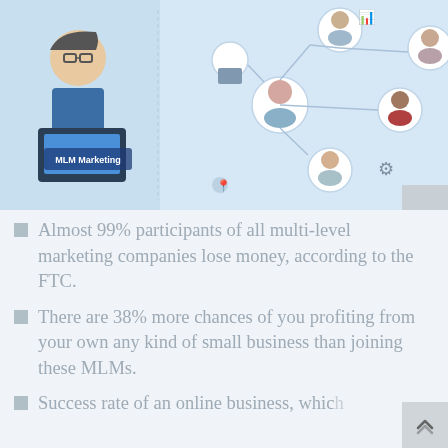[Figure (illustration): MLM Marketing network illustration showing a person at a laptop labeled 'MLM Marketing' on the left, connected to a network of circular profile pictures of people on a light blue background, with icons for charts, location pins, and settings.]
Almost 99% participants of all multi-level marketing companies lose money, according to the FTC.
There are 38% more chances of you profiting from your own any kind of small business than joining these MLMs.
Success rate of an online business, which will give you financial and time freedom...